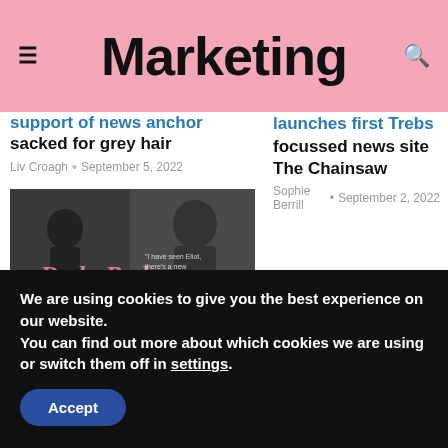Marketing
support of news anchor sacked for grey hair
Liv Croagh • September 5, 2022
launches first Trebs focussed news site The Chainsaw
Sophie Berrill • September 2, 2022
[Figure (photo): Dad Bod promotional image with black and white photos of men and pink script text reading 'Dad Bod']
This Father's Day, frank is bringing back the dad
We are using cookies to give you the best experience on our website.
You can find out more about which cookies we are using or switch them off in settings.